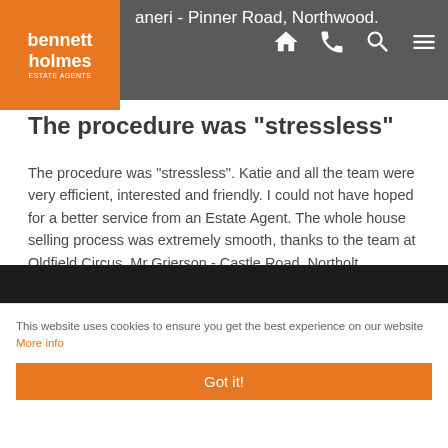bennett holmes - Pinner Road, Northwood.
The procedure was "stressless"
The procedure was "stressless". Katie and all the team were very efficient, interested and friendly. I could not have hoped for a better service from an Estate Agent. The whole house selling process was extremely smooth, thanks to the team at Oldfield Circus. Mr Grierson - Castle Road, Northolt.
The team has been fantastic
The overall service I have received from Katie and the team has been fantastic - always forthcoming with updates and information and prompting me when needed. Being a first time
This website uses cookies to ensure you get the best experience on our website More info
Got it!